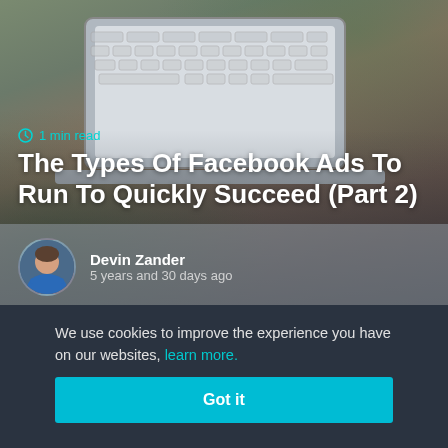[Figure (photo): Hero image showing a laptop keyboard from overhead on a wooden desk with plants, overlaid with article title and author info]
1 min read
The Types Of Facebook Ads To Run To Quickly Succeed (Part 2)
Devin Zander
5 years and 30 days ago
We use cookies to improve the experience you have on our websites, learn more.
Got it